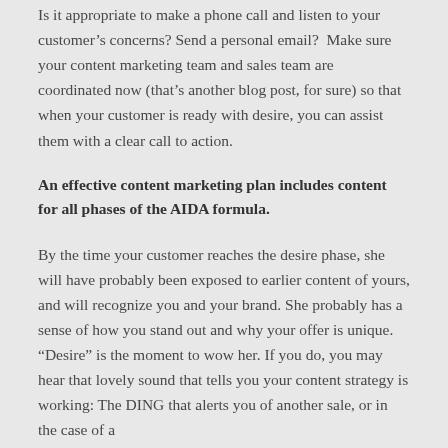Is it appropriate to make a phone call and listen to your customer's concerns? Send a personal email?  Make sure your content marketing team and sales team are coordinated now (that's another blog post, for sure) so that when your customer is ready with desire, you can assist them with a clear call to action.
An effective content marketing plan includes content for all phases of the AIDA formula.
By the time your customer reaches the desire phase, she will have probably been exposed to earlier content of yours, and will recognize you and your brand. She probably has a sense of how you stand out and why your offer is unique. “Desire” is the moment to wow her. If you do, you may hear that lovely sound that tells you your content strategy is working: The DING that alerts you of another sale, or in the case of a